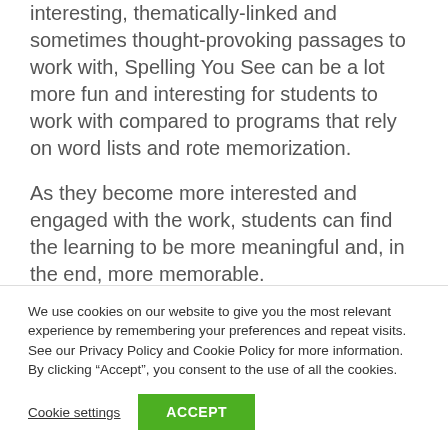interesting, thematically-linked and sometimes thought-provoking passages to work with, Spelling You See can be a lot more fun and interesting for students to work with compared to programs that rely on word lists and rote memorization.
As they become more interested and engaged with the work, students can find the learning to be more meaningful and, in the end, more memorable.
We use cookies on our website to give you the most relevant experience by remembering your preferences and repeat visits. See our Privacy Policy and Cookie Policy for more information. By clicking “Accept”, you consent to the use of all the cookies.
Cookie settings
ACCEPT